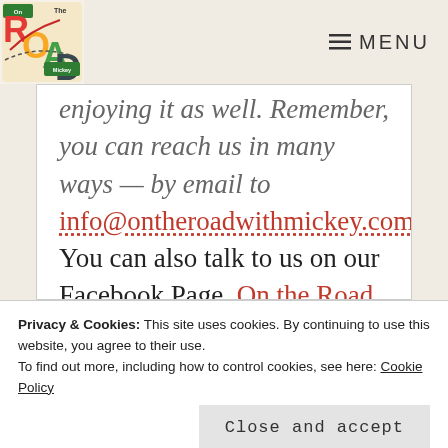[Figure (logo): On The Road with Mickey podcast logo — colorful road-themed graphic with letters R, O, A, D]
≡ MENU
enjoying it as well. Remember, you can reach us in many ways — by email to info@ontheroadwithmickey.com. You can also talk to us on our Facebook Page, On the Road with Mickey or in our On the Road with
Privacy & Cookies: This site uses cookies. By continuing to use this website, you agree to their use.
To find out more, including how to control cookies, see here: Cookie Policy
Close and accept